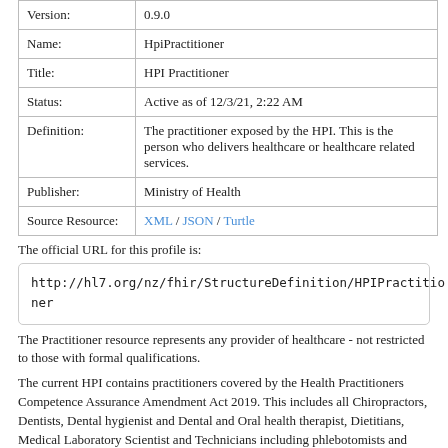| Version: | 0.9.0 |
| Name: | HpiPractitioner |
| Title: | HPI Practitioner |
| Status: | Active as of 12/3/21, 2:22 AM |
| Definition: | The practitioner exposed by the HPI. This is the person who delivers healthcare or healthcare related services. |
| Publisher: | Ministry of Health |
| Source Resource: | XML / JSON / Turtle |
The official URL for this profile is:
http://hl7.org/nz/fhir/StructureDefinition/HPIPractitioner
The Practitioner resource represents any provider of healthcare - not restricted to those with formal qualifications.
The current HPI contains practitioners covered by the Health Practitioners Competence Assurance Amendment Act 2019. This includes all Chiropractors, Dentists, Dental hygienist and Dental and Oral health therapist, Dietitians, Medical Laboratory Scientist and Technicians including phlebotomists and mortuary technicians, Anaesthetic Technologists, Medical Radiation Technologists, Medical